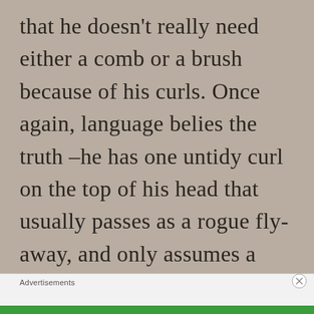that he doesn't really need either a comb or a brush because of his curls. Once again, language belies the truth –he has one untidy curl on the top of his head that usually passes as a rogue fly-away, and only assumes a curl shape if you look at it from a certain angle. It's also the view that aggrandizes what few strands he has left. I
Advertisements